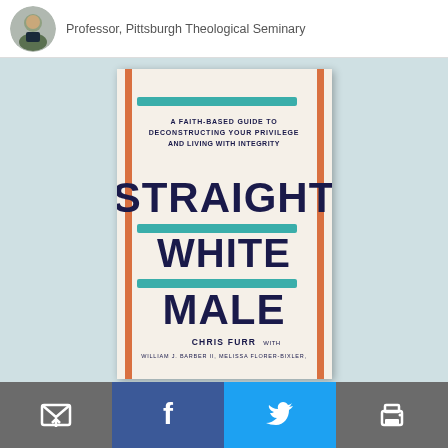Professor, Pittsburgh Theological Seminary
[Figure (photo): Book cover of 'Straight White Male: A Faith-Based Guide to Deconstructing Your Privilege and Living with Integrity' by Chris Furr with William J. Barber II, Melissa Florer-Bixler]
Social sharing toolbar with email, Facebook, Twitter, and print icons